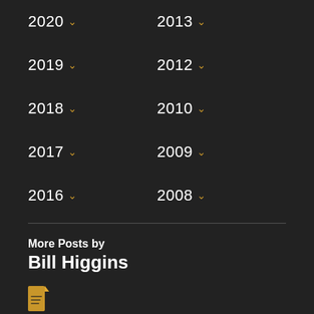2020
2013
2019
2012
2018
2010
2017
2009
2016
2008
More Posts by
Bill Higgins
[Figure (illustration): Document/file icon in yellow/gold color]
From the Cabinet of Physics: Reflection and Invisible Waves
By Bill Higgins | 13 May 2017